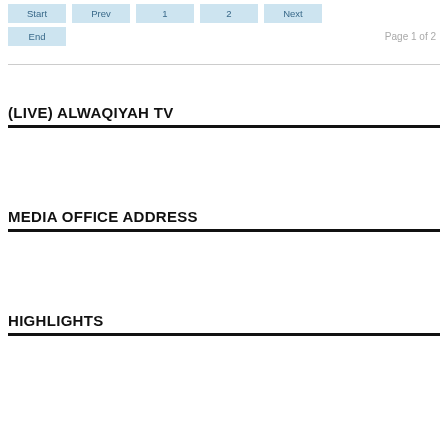Start | Prev | 1 | 2 | Next | End   Page 1 of 2
(LIVE) ALWAQIYAH TV
MEDIA OFFICE ADDRESS
HIGHLIGHTS